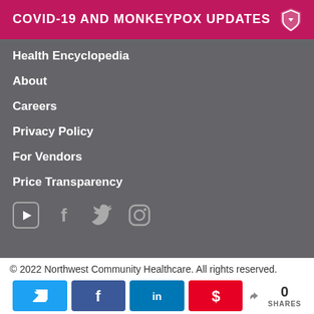COVID-19 AND MONKEYPOX UPDATES
Health Encyclopedia
About
Careers
Privacy Policy
For Vendors
Price Transparency
[Figure (other): Social media icons: YouTube, Facebook, Twitter, Instagram]
© 2022 Northwest Community Healthcare. All rights reserved.
[Figure (other): Social share buttons: Tweet, Share (Facebook), Share (LinkedIn), Pin (Pinterest), and share count showing 0 SHARES]